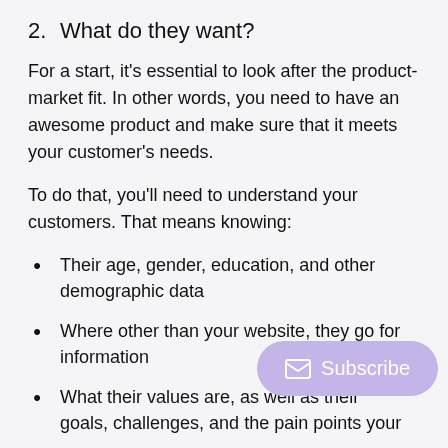2. What do they want?
For a start, it's essential to look after the product-market fit. In other words, you need to have an awesome product and make sure that it meets your customer's needs.
To do that, you'll need to understand your customers. That means knowing:
Their age, gender, education, and other demographic data
Where other than your website, they go for information
What their values are, as well as their goals, challenges, and the pain points your